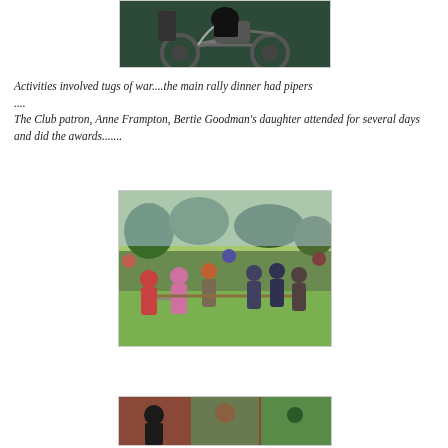[Figure (photo): Partial view of a vintage motorcycle against a green background]
Activities involved tugs of war....the main rally dinner had pipers ....
The Club patron, Anne Frampton, Bertie Goodman's daughter attended for several days and did the awards.......
[Figure (photo): People participating in a tug of war on grass at an outdoor event, with spectators watching]
[Figure (photo): Partial view of another scene from the rally event]